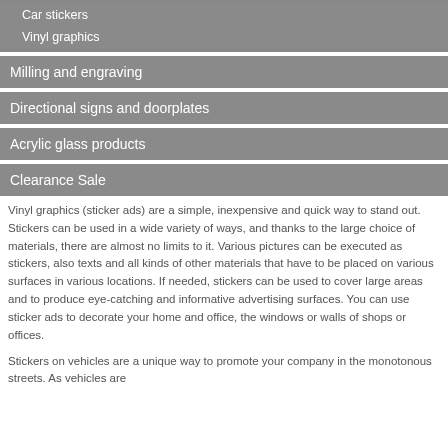Car stickers
Vinyl graphics
Milling and engraving
Directional signs and doorplates
Acrylic glass products
Clearance Sale
Vinyl graphics (sticker ads) are a simple, inexpensive and quick way to stand out. Stickers can be used in a wide variety of ways, and thanks to the large choice of materials, there are almost no limits to it. Various pictures can be executed as stickers, also texts and all kinds of other materials that have to be placed on various surfaces in various locations. If needed, stickers can be used to cover large areas and to produce eye-catching and informative advertising surfaces. You can use sticker ads to decorate your home and office, the windows or walls of shops or offices.
Stickers on vehicles are a unique way to promote your company in the monotonous streets. As vehicles are